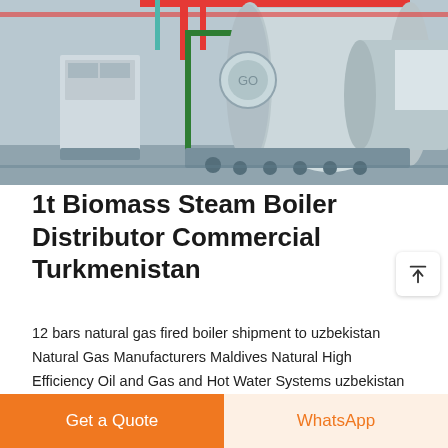[Figure (photo): Industrial boiler room showing large horizontal cylindrical steam boilers with support structures, pipes, and control panels in a factory setting]
1t Biomass Steam Boiler Distributor Commercial Turkmenistan
12 bars natural gas fired boiler shipment to uzbekistan Natural Gas Manufacturers Maldives Natural High Efficiency Oil and Gas and Hot Water Systems uzbekistan wood chips fired supplier Jun 12 2019 · -price Industrial manufacturer wood